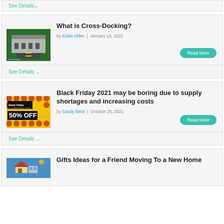See Details ∨
[Figure (photo): Aerial view of a cross-docking warehouse facility]
What is Cross-Docking?
by Eddie Miller | January 14, 2022
Read More
See Details ∨
[Figure (photo): Black Friday 50% off sale sign on yellow background]
Black Friday 2021 may be boring due to supply shortages and increasing costs
by Sandy Beck | October 25, 2021
Read More
See Details ∨
Gifts Ideas for a Friend Moving To a New Home